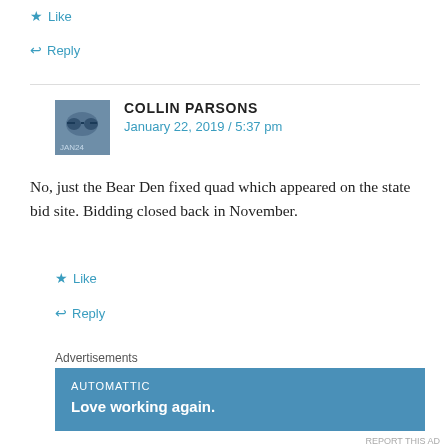★ Like
↩ Reply
COLLIN PARSONS
January 22, 2019 / 5:37 pm
No, just the Bear Den fixed quad which appeared on the state bid site. Bidding closed back in November.
★ Like
↩ Reply
Advertisements
[Figure (screenshot): AUTOMATTIC advertisement: Love working again.]
REPORT THIS AD